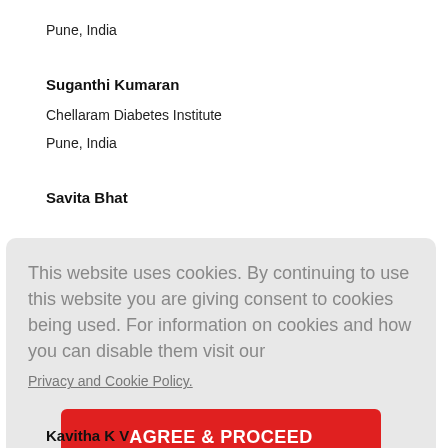Pune, India
Suganthi Kumaran
Chellaram Diabetes Institute
Pune, India
Savita Bhat
This website uses cookies. By continuing to use this website you are giving consent to cookies being used. For information on cookies and how you can disable them visit our
Privacy and Cookie Policy.
AGREE & PROCEED
Kavitha K V